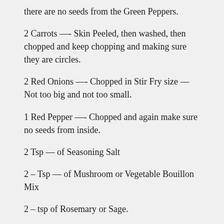there are no seeds from the Green Peppers.
2 Carrots —- Skin Peeled, then washed, then chopped and keep chopping and making sure they are circles.
2 Red Onions —- Chopped in Stir Fry size — Not too big and not too small.
1 Red Pepper —- Chopped and again make sure no seeds from inside.
2 Tsp — of Seasoning Salt
2 – Tsp — of Mushroom or Vegetable Bouillon Mix
2 – tsp of Rosemary or Sage.
4 Boneless Skinless Chicken Breasts. Washed